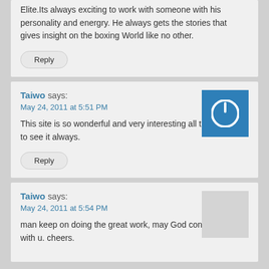Elite.Its always exciting to work with someone with his personality and energry. He always gets the stories that gives insight on the boxing World like no other.
Reply
Taiwo says:
May 24, 2011 at 5:51 PM
This site is so wonderful and very interesting all the time Gud to see it always.
Reply
Taiwo says:
May 24, 2011 at 5:54 PM
man keep on doing the great work, may God continue be with u. cheers.